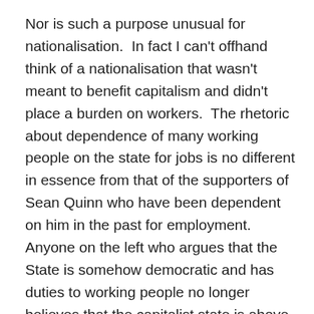Nor is such a purpose unusual for nationalisation.  In fact I can't offhand think of a nationalisation that wasn't meant to benefit capitalism and didn't place a burden on workers.  The rhetoric about dependence of many working people on the state for jobs is no different in essence from that of the supporters of Sean Quinn who have been dependent on him in the past for employment.  Anyone on the left who argues that the State is somehow democratic and has duties to working people no longer believes that the capitalist state is above all the defender of the capitalist system.  That this is what is its defining role.  But for the Left it would appear that holding the belief that the capitalist state is both a defender of capitalism and cannot be reformed and that it can provide all the things that are demanded in Left manifestos are not two mutually exclusive ideas that cannot both be true.